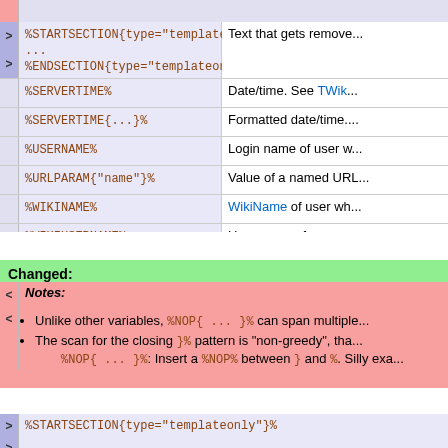| Variable | Description |
| --- | --- |
| %STARTSECTION{type="templateonly"}%
...
%ENDSECTION{type="templateonly"}% | Text that gets removed... |
| %SERVERTIME% | Date/time. See TWiki... |
| %SERVERTIME{...}% | Formatted date/time.... |
| %USERNAME% | Login name of user w... |
| %URLPARAM{"name"}% | Value of a named URL... |
| %WIKINAME% | WikiName of user wh... |
| %WIKIUSERNAME% | User name of user w... |
Changed:
Notes:
Unlike other variables, %NOP{ ... }% can span multiple...
The scan for the closing }% pattern is "non-greedy", tha... %NOP{ ... }%: Insert a %NOP% between } and %. Silly exa...
%STARTSECTION{type="templateonly"}%
...